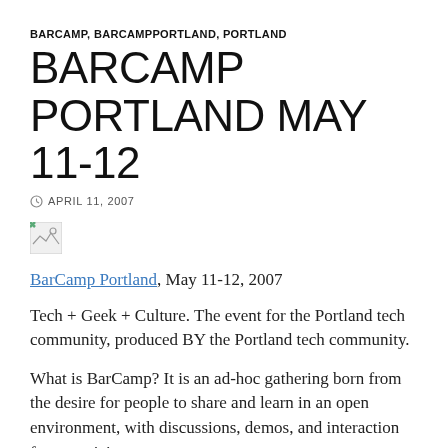BARCAMP, BARCAMPPORTLAND, PORTLAND
BARCAMP PORTLAND MAY 11-12
APRIL 11, 2007
[Figure (photo): Broken image placeholder (small image thumbnail with broken image icon)]
BarCamp Portland, May 11-12, 2007
Tech + Geek + Culture. The event for the Portland tech community, produced BY the Portland tech community.
What is BarCamp? It is an ad-hoc gathering born from the desire for people to share and learn in an open environment, with discussions, demos, and interaction from participants.